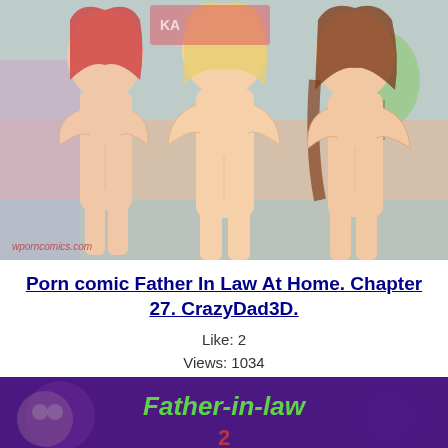[Figure (illustration): Anime-style illustration of three nude female figures standing together. Watermark 'wporncomics.com' in bottom left corner.]
Porn comic Father In Law At Home. Chapter 27. CrazyDad3D.
Like: 2
Views: 1034
[Figure (illustration): Banner image with purple/dark background and green stylized text reading 'Father-in-law' with decorative elements.]